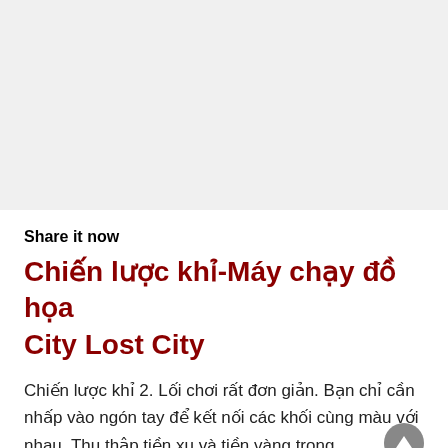[Figure (other): Gray blank top area representing an image placeholder]
Share it now
Chiến lược khỉ-Máy chạy đồ họa City Lost City
Chiến lược khỉ 2. Lối chơi rất đơn giản. Bạn chỉ cần nhấp vào ngón tay để kết nối các khối cùng màu với nhau. Thu thập tiền xu và tiền vàng trong